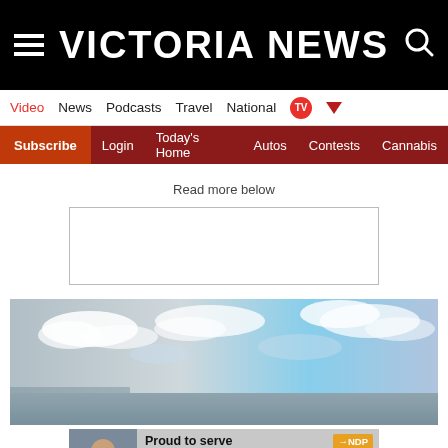VICTORIA NEWS
Video  News  Podcasts  Travel  National  TV
Subscribe  Login  Today's Home  Autos  Contests  Cannabis
Read more below
[Figure (photo): Sky photo showing blue sky with clouds over water]
[Figure (photo): NDP advertisement banner: Proud to serve Esquimalt-Saanich-Sooke, Randall Garrison MP, Randall.Garrison@parl.gc.ca]